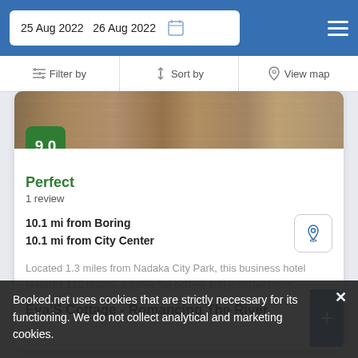25 Aug 2022  26 Aug 2022
Filter by  Sort by  View map
[Figure (photo): Hotel exterior photo showing brick building facade]
9.0
Perfect
1 review
10.1 mi from Boring
10.1 mi from City Center
Located 1.3 miles from Nadaka City Park, this business hotel features 122 rooms, a cable flat-screen and entertainment…
from us$ 82/night
SELECT
Eva'S Cottage - Romancing The River
Booked.net uses cookies that are strictly necessary for its functioning. We do not collect analytical and marketing cookies.